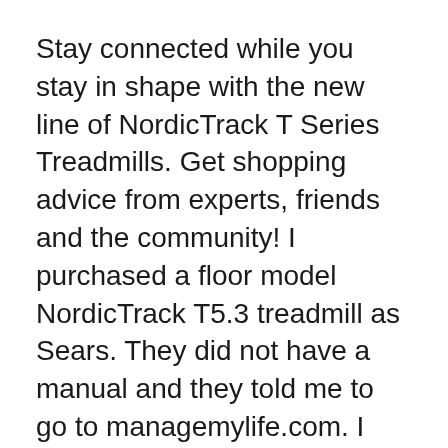Stay connected while you stay in shape with the new line of NordicTrack T Series Treadmills. Get shopping advice from experts, friends and the community! I purchased a floor model NordicTrack T5.3 treadmill as Sears. They did not have a manual and they told me to go to managemylife.com. I still cannot find one. Would you be able to give me the link for this manual? Thanks, Gary
View and Download NordicTrack T 5.3 Treadmill manual online. English Manual. T 5.3 Treadmill Treadmill pdf manual download. Also for: Ntl60010.0, T 5.3, Ntl60010.2. 24/10/2017B B· OperaciГin de la caminadora.